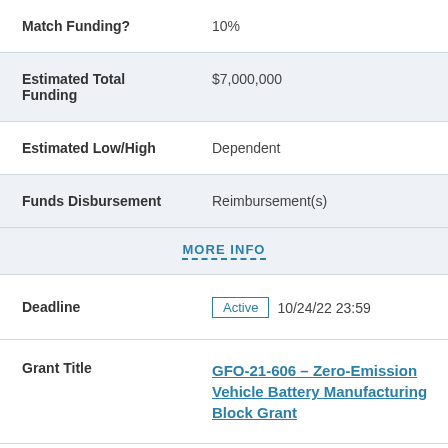| Match Funding? | 10% |
| Estimated Total Funding | $7,000,000 |
| Estimated Low/High | Dependent |
| Funds Disbursement | Reimbursement(s) |
| MORE INFO |  |
| Deadline | Active  10/24/22 23:59 |
| Grant Title | GFO-21-606 – Zero-Emission Vehicle Battery Manufacturing Block Grant |